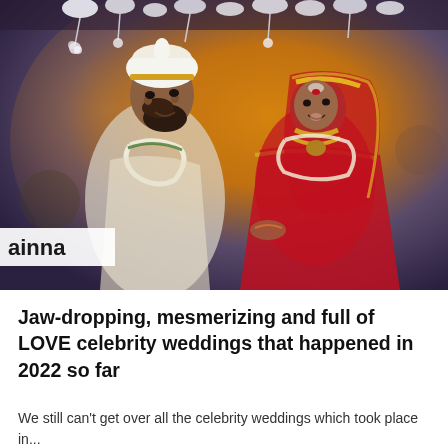[Figure (photo): Indian wedding ceremony photo showing a groom in white traditional attire with turban and a bride in red and gold bridal outfit with heavy jewelry and veil, with floral decorations overhead. Watermark text 'ainna' visible in lower left.]
Jaw-dropping, mesmerizing and full of LOVE celebrity weddings that happened in 2022 so far
We still can't get over all the celebrity weddings which took place in...